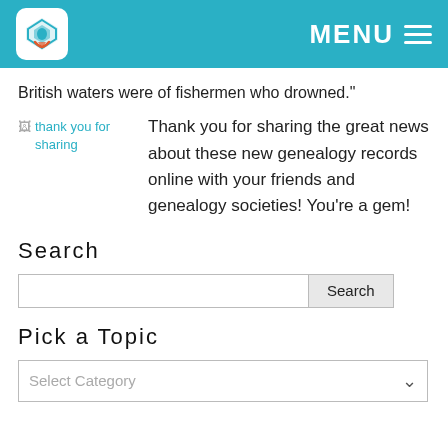MENU
British waters were of fishermen who drowned."
[Figure (illustration): thank you for sharing image placeholder]
Thank you for sharing the great news about these new genealogy records online with your friends and genealogy societies! You're a gem!
Search
Pick a Topic